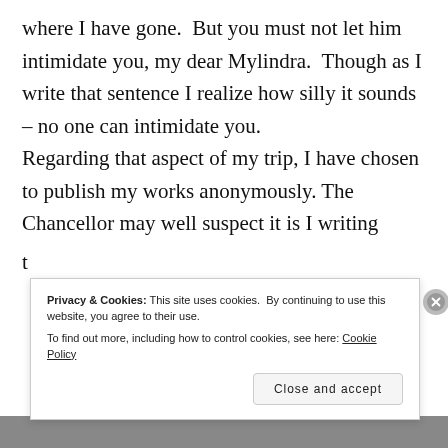where I have gone.  But you must not let him intimidate you, my dear Mylindra.  Though as I write that sentence I realize how silly it sounds – no one can intimidate you.
Regarding that aspect of my trip, I have chosen to publish my works anonymously. The Chancellor may well suspect it is I writing t
Privacy & Cookies: This site uses cookies.  By continuing to use this website, you agree to their use.
To find out more, including how to control cookies, see here: Cookie Policy
Close and accept